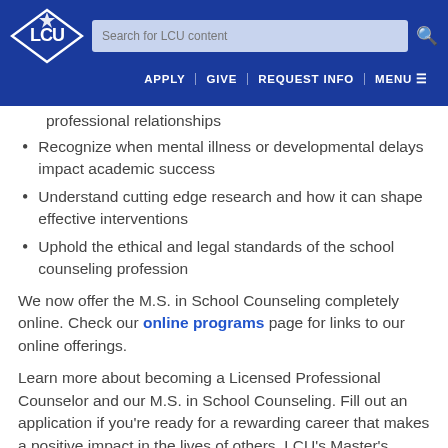LCU | Search for LCU content | APPLY | GIVE | REQUEST INFO | MENU
professional relationships
Recognize when mental illness or developmental delays impact academic success
Understand cutting edge research and how it can shape effective interventions
Uphold the ethical and legal standards of the school counseling profession
We now offer the M.S. in School Counseling completely online. Check our online programs page for links to our online offerings.
Learn more about becoming a Licensed Professional Counselor and our M.S. in School Counseling. Fill out an application if you're ready for a rewarding career that makes a positive impact in the lives of others, LCU's Master's degree